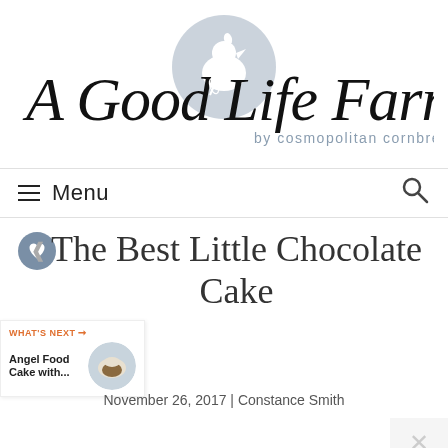[Figure (logo): A Good Life Farm by cosmopolitan cornbread logo with script text and circular chicken icon]
≡ Menu
[Figure (illustration): Heart/like button icon in a blue-grey circle]
The Best Little Chocolate Cake
[Figure (illustration): What's Next panel: Angel Food Cake with... with circular thumbnail image]
November 26, 2017 | Constance Smith
[Figure (photo): Advertisement banner: YOUR NEW BFF with dog photo on orange background]